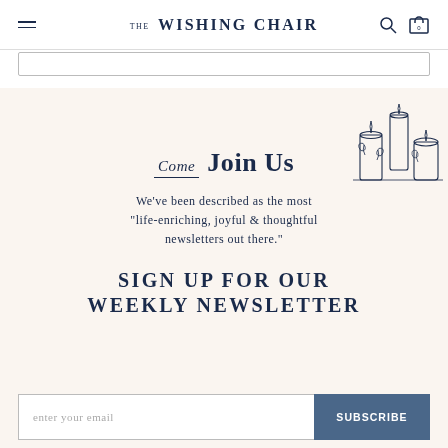THE WISHING CHAIR
Come  Join Us
We've been described as the most "life-enriching, joyful & thoughtful newsletters out there."
SIGN UP FOR OUR WEEKLY NEWSLETTER
[Figure (illustration): Line drawing illustration of decorative candles grouped together with floral/botanical elements]
enter your email
SUBSCRIBE